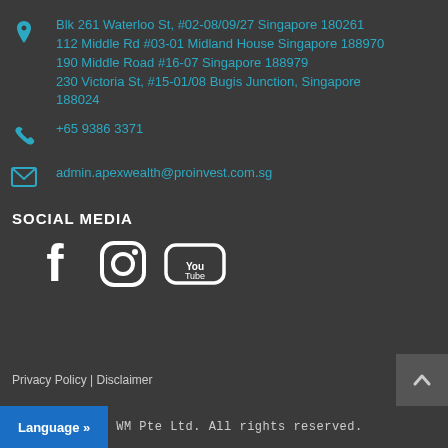Blk 261 Waterloo St, #02-08/09/27 Singapore 180261
112 Middle Rd #03-01 Midland House Singapore 188970
190 Middle Road #16-07 Singapore 188979
230 Victoria St, #15-01/08 Bugis Junction, Singapore 188024
+65 9386 3371
admin.apexwealth@proinvest.com.sg
SOCIAL MEDIA
[Figure (illustration): Social media icons: Facebook, Instagram, YouTube]
Privacy Policy | Disclaimer
WM Pte Ltd. All rights reserved.